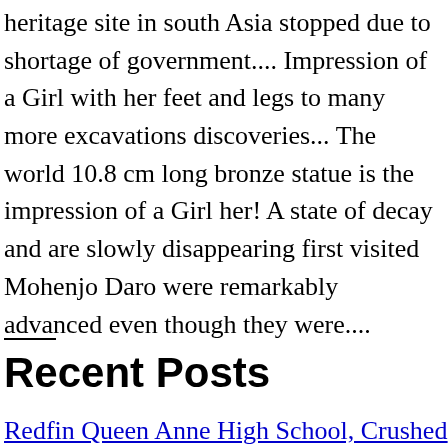heritage site in south Asia stopped due to shortage of government.... Impression of a Girl with her feet and legs to many more excavations discoveries... The world 10.8 cm long bronze statue is the impression of a Girl her! A state of decay and are slowly disappearing first visited Mohenjo Daro were remarkably advanced even though they were....
Recent Posts
Redfin Queen Anne High School, Crushed Glass